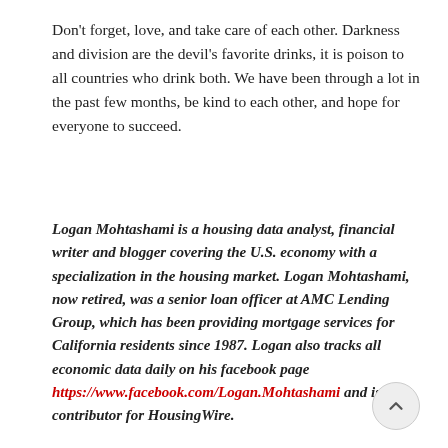Don't forget, love, and take care of each other. Darkness and division are the devil's favorite drinks, it is poison to all countries who drink both. We have been through a lot in the past few months, be kind to each other, and hope for everyone to succeed.
Logan Mohtashami is a housing data analyst, financial writer and blogger covering the U.S. economy with a specialization in the housing market. Logan Mohtashami, now retired, was a senior loan officer at AMC Lending Group, which has been providing mortgage services for California residents since 1987. Logan also tracks all economic data daily on his facebook page https://www.facebook.com/Logan.Mohtashami and is a contributor for HousingWire.